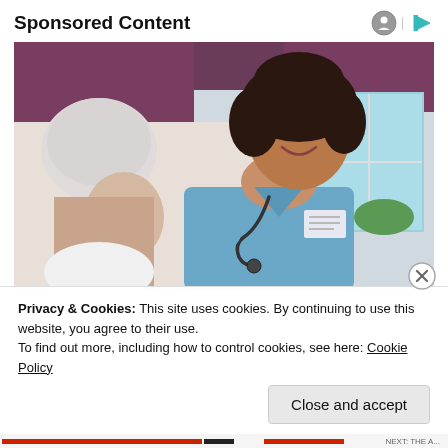Sponsored Content
[Figure (photo): A smiling female nurse in blue scrubs with a stethoscope talking to an elderly male patient, in an indoor setting with a purple curtain and window in the background.]
Privacy & Cookies: This site uses cookies. By continuing to use this website, you agree to their use.
To find out more, including how to control cookies, see here: Cookie Policy
Close and accept